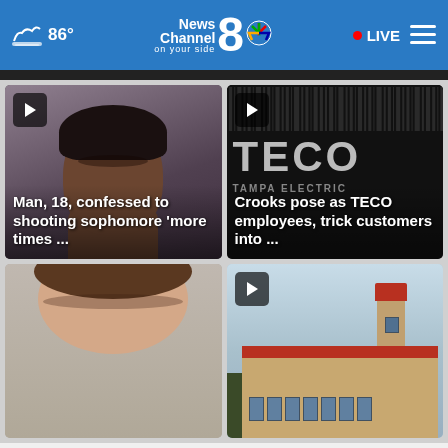86° News Channel 8 on your side • LIVE
[Figure (screenshot): News thumbnail: mugshot of young Black man against gray background]
Man, 18, confessed to shooting sophomore 'more times ...
[Figure (screenshot): News thumbnail: close-up of TECO logo/card in dark background]
Crooks pose as TECO employees, trick customers into ...
[Figure (screenshot): News thumbnail: partial view of top of person's head/forehead]
[Figure (screenshot): News thumbnail: school building with red roof and tower, trees in foreground]